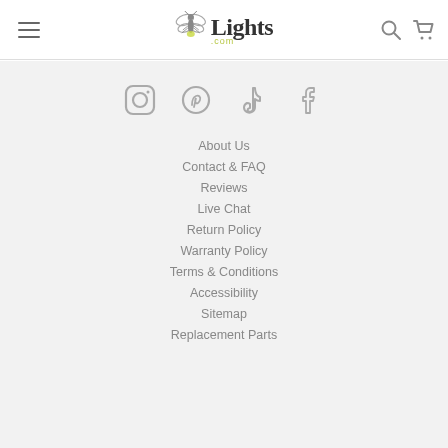Lights.com navigation header with hamburger menu, logo, search and cart icons
[Figure (logo): Lights.com logo with firefly/dragonfly insect icon and text 'Lights.com' in dark serif font with '.com' in yellow-green]
About Us
Contact & FAQ
Reviews
Live Chat
Return Policy
Warranty Policy
Terms & Conditions
Accessibility
Sitemap
Replacement Parts